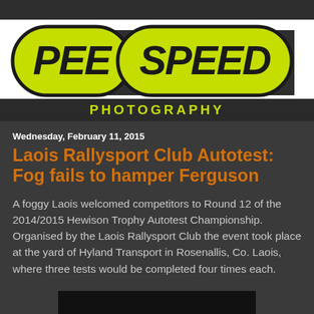[Figure (logo): Pee Speed Photography logo with yellow-green pill-shaped badges for PEE and SPEED text on white background with dark shadow shape, PHOTOGRAPHY text below in yellow-green on dark background]
Wednesday, February 11, 2015
Laois Rallysport Club Autotest: Fog fails to hamper Ferguson
A foggy Laois welcomed competitors to Round 12 of the 2014/2015 Hewison Trophy Autotest Championship. Organised by the Laois Rallysport Club the event took place at the yard of Hyland Transport in Rosenallis, Co. Laois, where three tests would be completed four times each.
[Figure (photo): Partial dark/black photo at bottom of page]